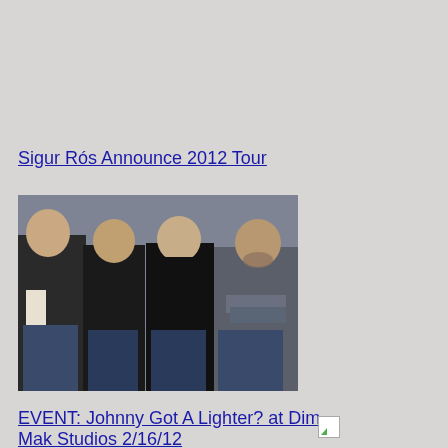Sigur Rós Announce 2012 Tour
[Figure (photo): Black and white / dark toned photo of four young men standing against a textured wall, all wearing dark clothing]
EVENT: Johnny Got A Lighter? at Dim Mak Studios 2/16/12
[Figure (photo): Broken/missing image placeholder icon (small white box with green arrow)]